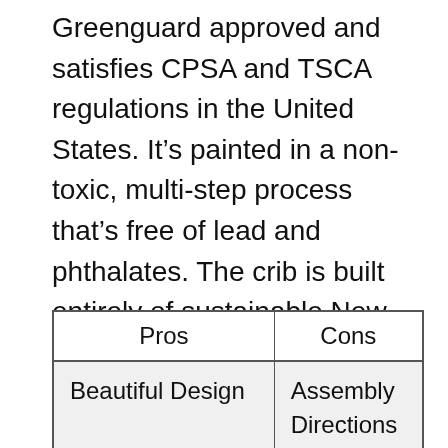Greenguard approved and satisfies CPSA and TSCA regulations in the United States. It’s painted in a non-toxic, multi-step process that’s free of lead and phthalates. The crib is built entirely of sustainable New Zealand pine wood, with the drawer base made of MDF.
| Pros | Cons |
| --- | --- |
| Beautiful Design | Assembly
Directions |